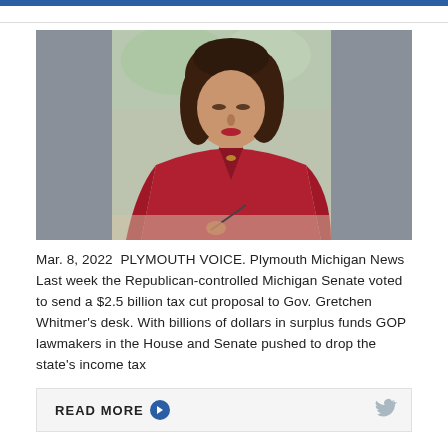[Figure (photo): A woman with dark hair wearing a red top, looking down and writing at a desk. Background shows blurred greenery and gray tones.]
Mar. 8, 2022  PLYMOUTH VOICE. Plymouth Michigan News Last week the Republican-controlled Michigan Senate voted to send a $2.5 billion tax cut proposal to Gov. Gretchen Whitmer's desk. With billions of dollars in surplus funds GOP lawmakers in the House and Senate pushed to drop the state's income tax
READ MORE →